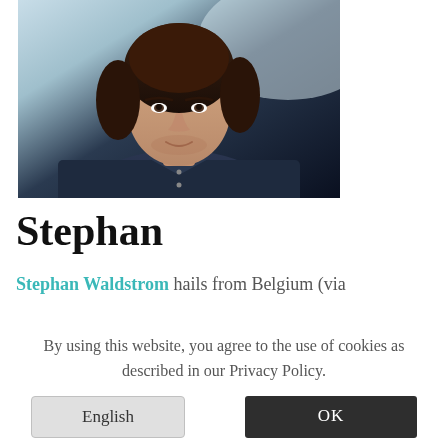[Figure (photo): Portrait photo of a young man with medium-length dark brown hair, wearing a dark navy blue button-up shirt, light blurred background]
Stephan
Stephan Waldstrom hails from Belgium (via
By using this website, you agree to the use of cookies as described in our Privacy Policy.
English
OK